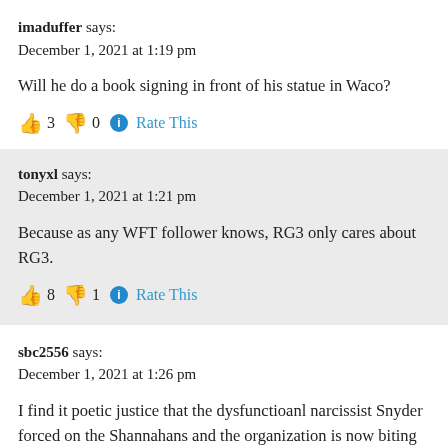imaduffer says:
December 1, 2021 at 1:19 pm
Will he do a book signing in front of his statue in Waco?
👍 3 👎 0 ℹ Rate This
tonyxl says:
December 1, 2021 at 1:21 pm
Because as any WFT follower knows, RG3 only cares about RG3.
👍 8 👎 1 ℹ Rate This
sbc2556 says:
December 1, 2021 at 1:26 pm
I find it poetic justice that the dysfunctioanl narcissist Snyder forced on the Shannahans and the organization is now biting his hand!